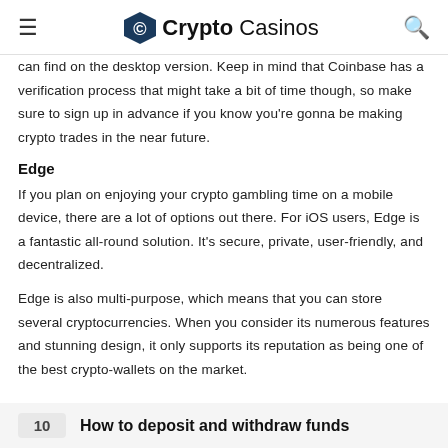≡  Crypto Casinos  🔍
can find on the desktop version. Keep in mind that Coinbase has a verification process that might take a bit of time though, so make sure to sign up in advance if you know you're gonna be making crypto trades in the near future.
Edge
If you plan on enjoying your crypto gambling time on a mobile device, there are a lot of options out there. For iOS users, Edge is a fantastic all-round solution. It's secure, private, user-friendly, and decentralized.
Edge is also multi-purpose, which means that you can store several cryptocurrencies. When you consider its numerous features and stunning design, it only supports its reputation as being one of the best crypto-wallets on the market.
10   How to deposit and withdraw funds